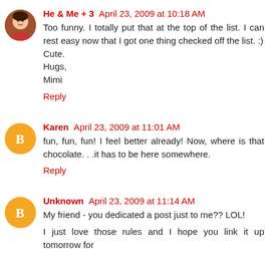He & Me + 3  April 23, 2009 at 10:18 AM
Too funny. I totally put that at the top of the list. I can rest easy now that I got one thing checked off the list. :)
Cute.
Hugs,
Mimi
Reply
Karen  April 23, 2009 at 11:01 AM
fun, fun, fun! I feel better already! Now, where is that chocolate. . .it has to be here somewhere.
Reply
Unknown  April 23, 2009 at 11:14 AM
My friend - you dedicated a post just to me?? LOL!
I just love those rules and I hope you link it up tomorrow for